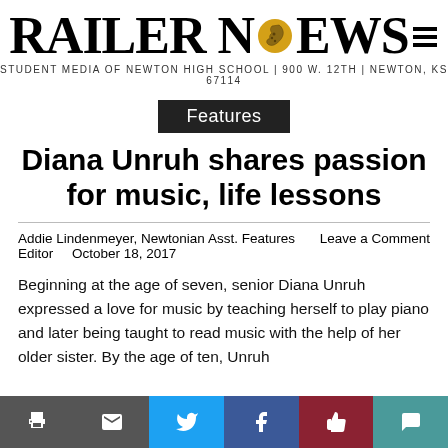RAILER NEWS — STUDENT MEDIA OF NEWTON HIGH SCHOOL | 900 W. 12TH | NEWTON, KS 67114
Features
Diana Unruh shares passion for music, life lessons
Addie Lindenmeyer, Newtonian Asst. Features Editor   October 18, 2017   Leave a Comment
Beginning at the age of seven, senior Diana Unruh expressed a love for music by teaching herself to play piano and later being taught to read music with the help of her older sister. By the age of ten, Unruh [started playing the cello and getting involved in ...]